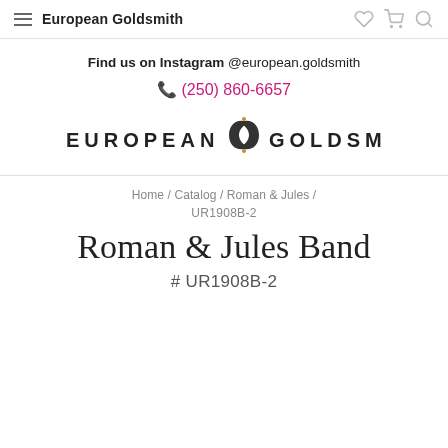European Goldsmith
Find us on Instagram @european.goldsmith
(250) 860-6657
[Figure (logo): European Goldsmith logo with stylized EG monogram in center, text reading EUROPEAN GOLDSMITH]
Home / Catalog / Roman & Jules /
UR1908B-2
Roman & Jules Band
# UR1908B-2